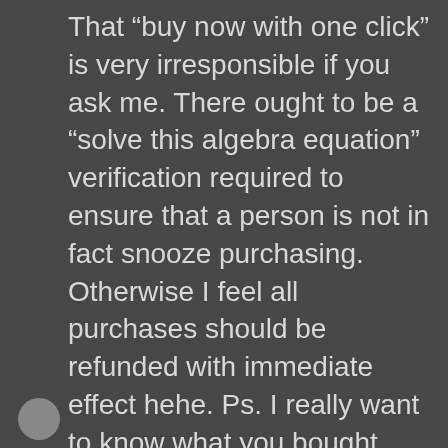That “buy now with one click” is very irresponsible if you ask me. There ought to be a “solve this algebra equation” verification required to ensure that a person is not in fact snooze purchasing. Otherwise I feel all purchases should be refunded with immediate effect hehe. Ps. I really want to know what you bought now! 😂 x #blogcrush
★ Liked by 2 people
REPLY